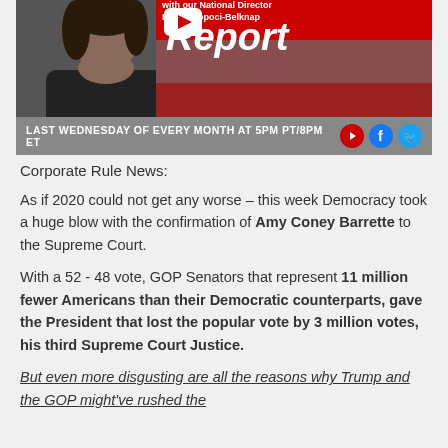[Figure (photo): Banner image for a report show featuring a woman on the left, red background with 'Report' text, 'with our National Director Kaitlin Sopoci-Belknap', and bottom bar reading 'LAST WEDNESDAY OF EVERY MONTH AT 5PM PT/8PM ET' with YouTube, Facebook, Twitter icons]
Corporate Rule News:
As if 2020 could not get any worse – this week Democracy took a huge blow with the confirmation of Amy Coney Barrette to the Supreme Court.
With a 52 - 48 vote, GOP Senators that represent 11 million fewer Americans than their Democratic counterparts, gave the President that lost the popular vote by 3 million votes, his third Supreme Court Justice.
But even more disgusting are all the reasons why Trump and the GOP might've rushed the